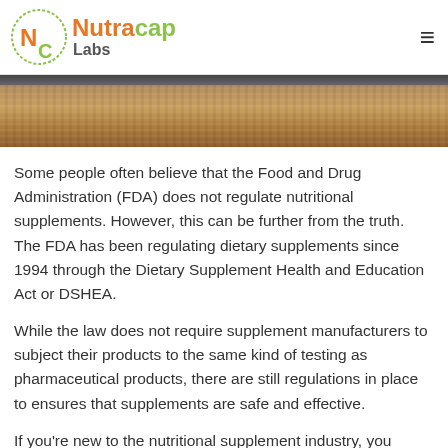Nutracap Labs
[Figure (photo): Partial view of a textured brown surface, resembling wood grain or cork material, shown as a horizontal banner strip.]
Some people often believe that the Food and Drug Administration (FDA) does not regulate nutritional supplements. However, this can be further from the truth. The FDA has been regulating dietary supplements since 1994 through the Dietary Supplement Health and Education Act or DSHEA.
While the law does not require supplement manufacturers to subject their products to the same kind of testing as pharmaceutical products, there are still regulations in place to ensures that supplements are safe and effective.
If you're new to the nutritional supplement industry, you